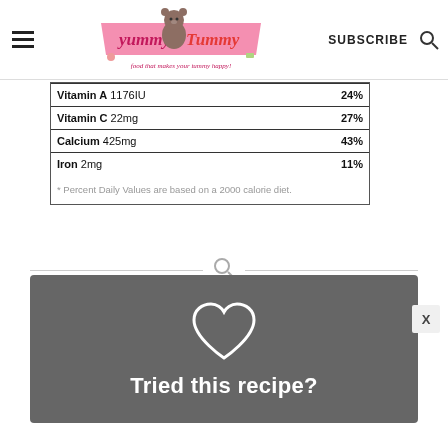Yummy Tummy | food that makes your tummy happy!
| Vitamin A 1176IU | 24% |
| Vitamin C 22mg | 27% |
| Calcium 425mg | 43% |
| Iron 2mg | 11% |
* Percent Daily Values are based on a 2000 calorie diet.
[Figure (other): Search icon divider between sections]
[Figure (other): Dark grey banner with white heart outline icon and text 'Tried this recipe?']